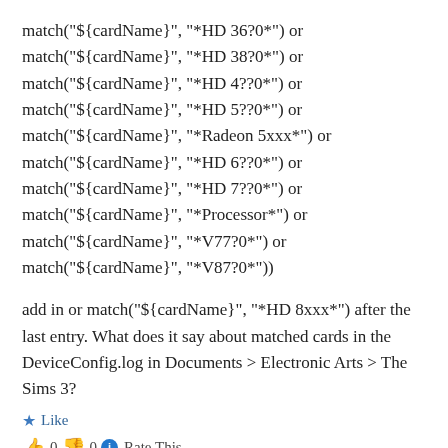match("${cardName}", "*HD 36?0*") or match("${cardName}", "*HD 38?0*") or match("${cardName}", "*HD 4??0*") or match("${cardName}", "*HD 5??0*") or match("${cardName}", "*Radeon 5xxx*") or match("${cardName}", "*HD 6??0*") or match("${cardName}", "*HD 7??0*") or match("${cardName}", "*Processor*") or match("${cardName}", "*V77?0*") or match("${cardName}", "*V87?0*"))
add in or match("${cardName}", "*HD 8xxx*") after the last entry. What does it say about matched cards in the DeviceConfig.log in Documents > Electronic Arts > The Sims 3?
★ Like
👍 0 👎 0 ℹ Rate This
REPLY
Jing Xie says: